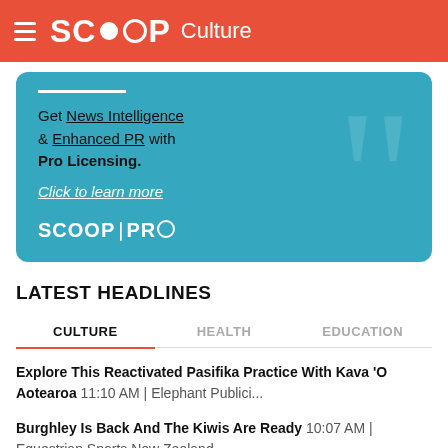SCOOP Culture
[Figure (infographic): Scoop Pro promotional banner on teal background with large quotation mark watermark. Text reads: Get News Intelligence & Enhanced PR with Pro Licensing. Click to learn more. SCOOP | PRO logo at bottom.]
LATEST HEADLINES
CULTURE | HEALTH | EDUCATION (tab navigation)
Explore This Reactivated Pasifika Practice With Kava 'O Aotearoa 11:10 AM | Elephant Publici...
Burghley Is Back And The Kiwis Are Ready 10:07 AM | Equestrian Sports New Zealand